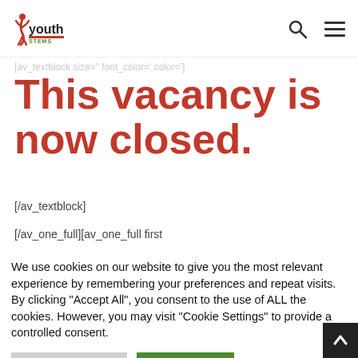Youth [logo]
[av_textblock size=" font_color=' color=']
This vacancy is now closed.
[/av_textblock]
[/av_one_full][av_one_full first
We use cookies on our website to give you the most relevant experience by remembering your preferences and repeat visits. By clicking "Accept All", you consent to the use of ALL the cookies. However, you may visit "Cookie Settings" to provide a controlled consent.
Cookie Settings | Accept All
Read More